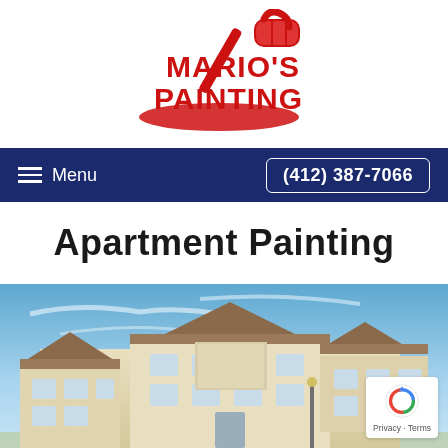[Figure (logo): Mario's Painting logo with red text and a paint roller illustration]
Menu  (412) 387-7066
Apartment Painting
[Figure (photo): Exterior photo of a multi-story apartment building with beige/cream colored walls and brown roof against a partly cloudy blue sky]
[Figure (other): reCAPTCHA badge overlay with Privacy and Terms links]